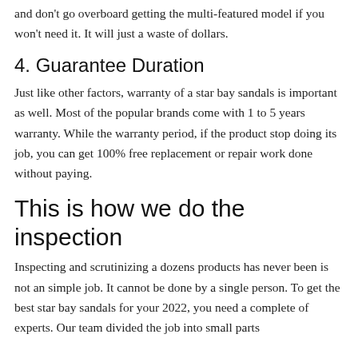and don't go overboard getting the multi-featured model if you won't need it. It will just a waste of dollars.
4. Guarantee Duration
Just like other factors, warranty of a star bay sandals is important as well. Most of the popular brands come with 1 to 5 years warranty. While the warranty period, if the product stop doing its job, you can get 100% free replacement or repair work done without paying.
This is how we do the inspection
Inspecting and scrutinizing a dozens products has never been is not an simple job. It cannot be done by a single person. To get the best star bay sandals for your 2022, you need a complete of experts. Our team divided the job into small parts